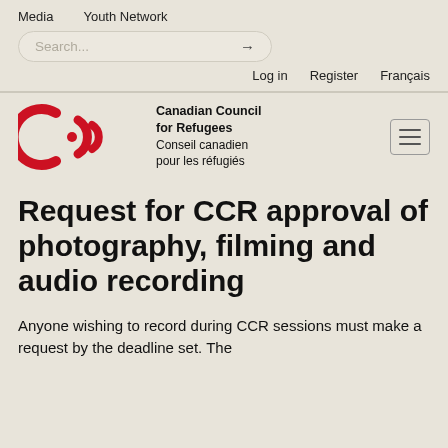Media   Youth Network
Search...   →
Log in   Register   Français
[Figure (logo): CCR (Canadian Council for Refugees / Conseil canadien pour les réfugiés) logo with red circular arc shapes and red dot, alongside the organization name in English and French, and a hamburger menu icon on the right.]
Request for CCR approval of photography, filming and audio recording
Anyone wishing to record during CCR sessions must make a request by the deadline set.  The